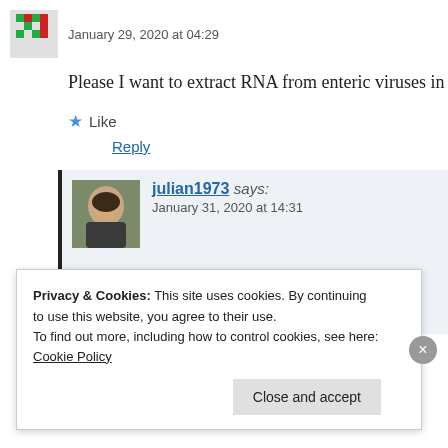January 29, 2020 at 04:29
Please I want to extract RNA from enteric viruses in wa
Like
Reply
julian1973 says:
January 31, 2020 at 14:31
I am not sure, with low expected yield this
Can you let me know if you try it out?
Privacy & Cookies: This site uses cookies. By continuing to use this website, you agree to their use.
To find out more, including how to control cookies, see here: Cookie Policy
Close and accept